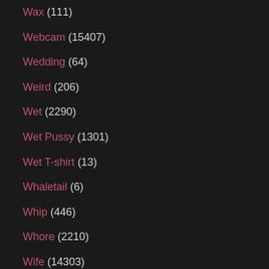Wax (111)
Webcam (15407)
Wedding (64)
Weird (206)
Wet (2290)
Wet Pussy (1301)
Wet T-shirt (13)
Whaletail (6)
Whip (446)
Whore (2210)
Wife (14303)
Wife Anal (1522)
Wife Blowjob (2491)
Wife Gangbang (248)
Wife Handjob (243)
Wife Homemade (1249)